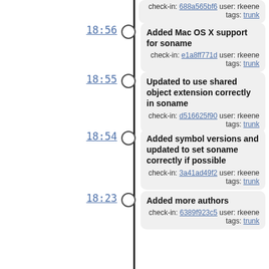18:56 - Added Mac OS X support for soname - check-in: e1a8ff771d user: rkeene tags: trunk
18:55 - Updated to use shared object extension correctly in soname - check-in: d516625f90 user: rkeene tags: trunk
18:54 - Added symbol versions and updated to set soname correctly if possible - check-in: 3a41ad49f2 user: rkeene tags: trunk
18:23 - Added more authors - check-in: 6389f923c5 user: rkeene tags: trunk
18:22 - Removed extraneous check - check-in: f92dcf40fe user: rkeene tags: trunk
18:21 - Updated to use individual m4 files from upstream repo, and many other cleanups - check-in: 5e72879d0d user: rkeene tags: trunk
18:11 - Updated to not randomly have libconfig.h passed through the C...